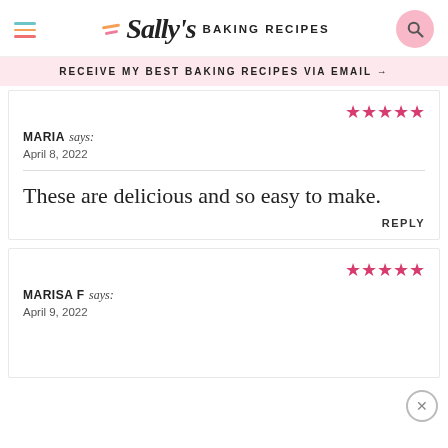Sally's Baking Recipes
RECEIVE MY BEST BAKING RECIPES VIA EMAIL →
MARIA says:
April 8, 2022

These are delicious and so easy to make.

REPLY
MARISA F says:
April 9, 2022